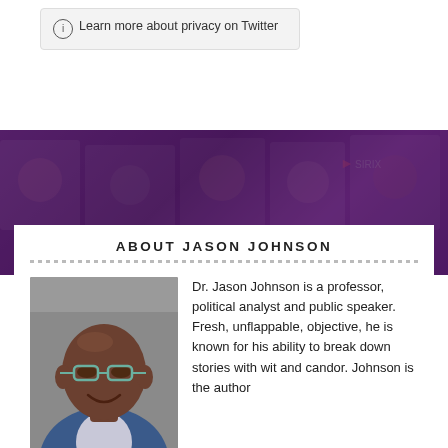Learn more about privacy on Twitter
[Figure (photo): Purple-toned background banner with blurred photos of people in a media/broadcast studio setting]
ABOUT JASON JOHNSON
[Figure (photo): Headshot of Dr. Jason Johnson, a bald Black man with glasses, smiling, wearing a suit]
Dr. Jason Johnson is a professor, political analyst and public speaker. Fresh, unflappable, objective, he is known for his ability to break down stories with wit and candor. Johnson is the author the book Political Consultants and Campaigns: One Day